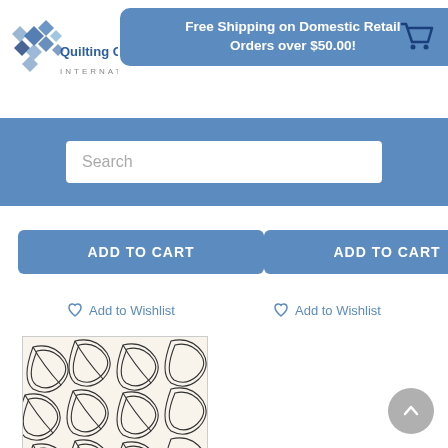[Figure (logo): Quilting Creations International logo with decorative quilt pattern icon]
Free Shipping on Domestic Retail Orders over $50.00!
[Figure (other): Shopping cart icon]
Search
ADD TO CART
ADD TO CART
Add to Wishlist
Add to Wishlist
[Figure (illustration): Quilting pattern product image showing swirling leaf/feather design in black line art on cream background]
UER-1009